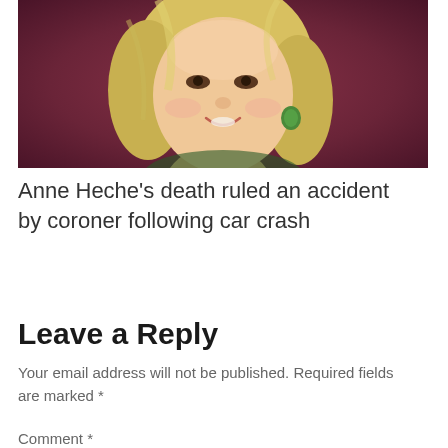[Figure (photo): Close-up photo of a smiling blonde woman with green earrings against a dark maroon/burgundy background]
Anne Heche’s death ruled an accident by coroner following car crash
Leave a Reply
Your email address will not be published. Required fields are marked *
Comment *